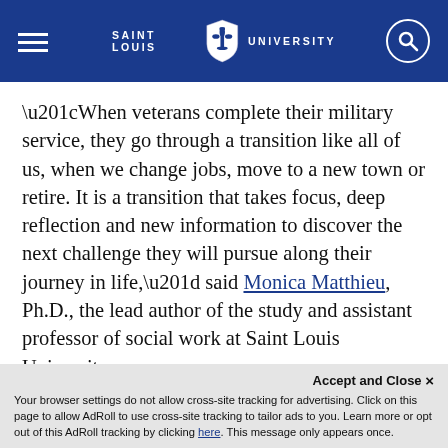Saint Louis University
“When veterans complete their military service, they go through a transition like all of us, when we change jobs, move to a new town or retire. It is a transition that takes focus, deep reflection and new information to discover the next challenge they will pursue along their journey in life,” said Monica Matthieu, Ph.D., the lead author of the study and assistant professor of social work at Saint Louis University.
“This study tells us that formal volunteering in a civic community service in their hometown is one option
Accept and Close × Your browser settings do not allow cross-site tracking for advertising. Click on this page to allow AdRoll to use cross-site tracking to tailor ads to you. Learn more or opt out of this AdRoll tracking by clicking here. This message only appears once.